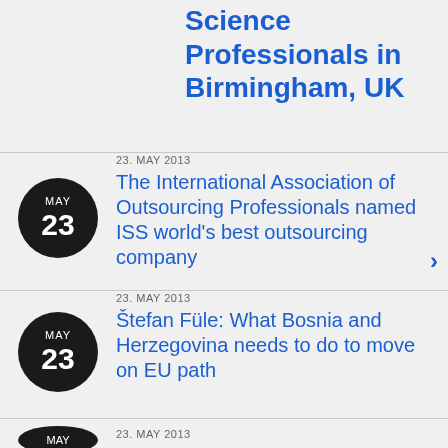Science Professionals in Birmingham, UK
23. MAY 2013
The International Association of Outsourcing Professionals named ISS world's best outsourcing company
23. MAY 2013
Štefan Füle: What Bosnia and Herzegovina needs to do to move on EU path
23. MAY 2013